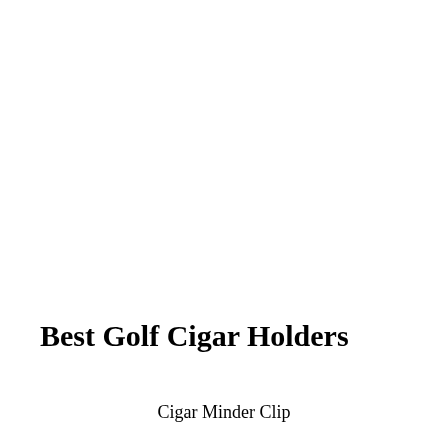Best Golf Cigar Holders
Cigar Minder Clip